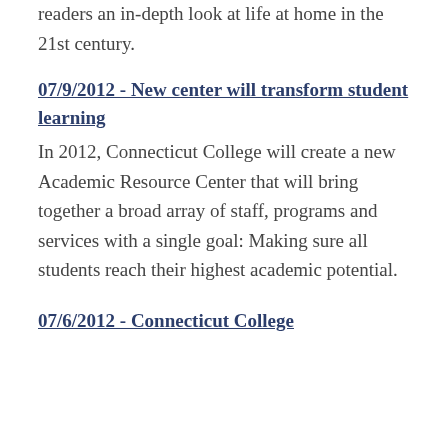32 dual-income middle class families to give readers an in-depth look at life at home in the 21st century.
07/9/2012 - New center will transform student learning
In 2012, Connecticut College will create a new Academic Resource Center that will bring together a broad array of staff, programs and services with a single goal: Making sure all students reach their highest academic potential.
07/6/2012 - Connecticut College